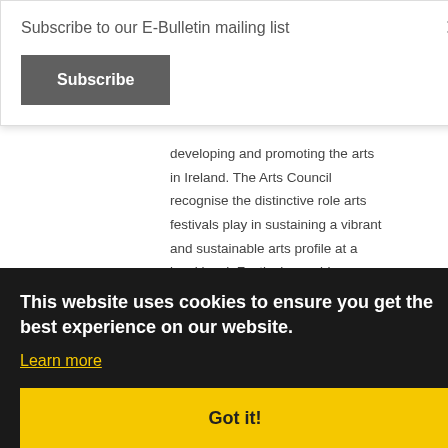Subscribe to our E-Bulletin mailing list
Subscribe
developing and promoting the arts in Ireland. The Arts Council recognise the distinctive role arts festivals play in sustaining a vibrant and sustainable arts profile at a local level. Festivals provide opportunities for artists and audiences to experience new work and ways of making work. The Council acknowledges the valuable contribution made by voluntary committees in
This website uses cookies to ensure you get the best experience on our website.
Learn more
Creative Cavan 2016 – 2022 Committee, the Creative Ireland Culture and Creativity Funding Plan for County Cavan, which is an initiative of the Department of Culture, Heritage and the Gaeltacht. Caitlíona Ó Rua Arts Officer & Cavan Co Council Arts Officer Comhaltas Hq Seisiún Fund; Linda O'Reilly Editor Anglo Celt Newspaper NYAH Comhaltas Branch Committee
Got it!